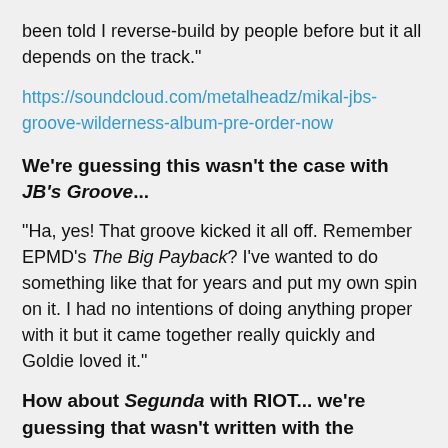been told I reverse-build by people before but it all depends on the track."
https://soundcloud.com/metalheadz/mikal-jbs-groove-wilderness-album-pre-order-now
We're guessing this wasn't the case with JB's Groove...
"Ha, yes! That groove kicked it all off. Remember EPMD's The Big Payback? I've wanted to do something like that for years and put my own spin on it. I had no intentions of doing anything proper with it but it came together really quickly and Goldie loved it."
How about Segunda with RIOT... we're guessing that wasn't written with the atmosphere first, either!
"No, it wasn't. I love his zouk bass style. Did you know he